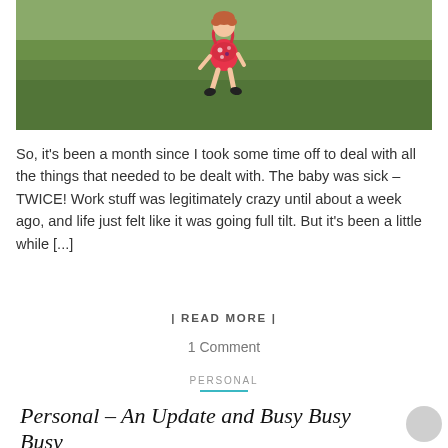[Figure (photo): A young toddler child running on a green grassy lawn, wearing a colorful floral outfit, viewed from behind. Outdoor summer scene.]
So, it's been a month since I took some time off to deal with all the things that needed to be dealt with. The baby was sick – TWICE! Work stuff was legitimately crazy until about a week ago, and life just felt like it was going full tilt. But it's been a little while [...]
| READ MORE |
1 Comment
PERSONAL
Personal – An Update and Busy Busy Busy